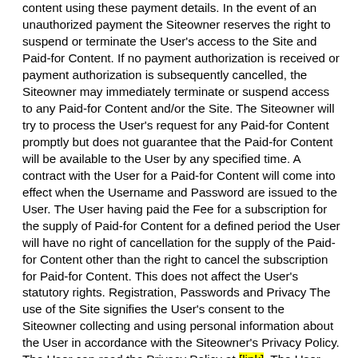content using these payment details. In the event of an unauthorized payment the Siteowner reserves the right to suspend or terminate the User's access to the Site and Paid-for Content. If no payment authorization is received or payment authorization is subsequently cancelled, the Siteowner may immediately terminate or suspend access to any Paid-for Content and/or the Site. The Siteowner will try to process the User's request for any Paid-for Content promptly but does not guarantee that the Paid-for Content will be available to the User by any specified time. A contract with the User for a Paid-for Content will come into effect when the Username and Password are issued to the User. The User having paid the Fee for a subscription for the supply of Paid-for Content for a defined period the User will have no right of cancellation for the supply of the Paid-for Content other than the right to cancel the subscription for Paid-for Content. This does not affect the User's statutory rights. Registration, Passwords and Privacy The use of the Site signifies the User's consent to the Siteowner collecting and using personal information about the User in accordance with the Siteowner's Privacy Policy. The User can read the Privacy Policy at [link]. The User does not have to register to use the Site in order to access it and enjoy the content other than the Paid-for Content. If the User wishes to access the Paid-for Content the User will be asked to provide the Siteowner with accurate, complete